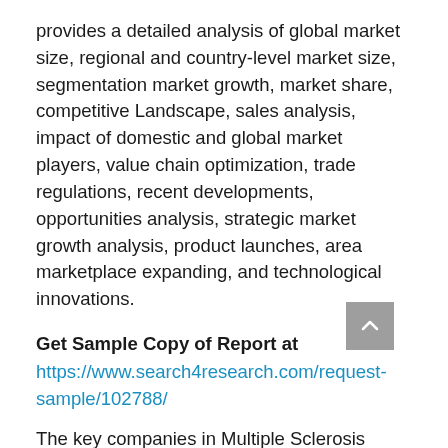provides a detailed analysis of global market size, regional and country-level market size, segmentation market growth, market share, competitive Landscape, sales analysis, impact of domestic and global market players, value chain optimization, trade regulations, recent developments, opportunities analysis, strategic market growth analysis, product launches, area marketplace expanding, and technological innovations.
Get Sample Copy of Report at
https://www.search4research.com/request-sample/102788/
The key companies in Multiple Sclerosis Drugs